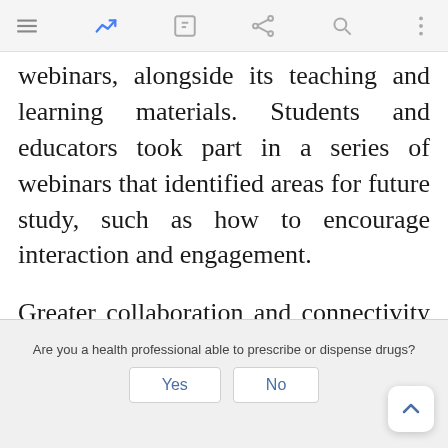[Mobile app toolbar with menu, chart, edit, share, search, and more icons]
webinars, alongside its teaching and learning materials. Students and educators took part in a series of webinars that identified areas for future study, such as how to encourage interaction and engagement.
Greater collaboration and connectivity might also help educators and students adapt to new ways of teaching and learning. Two recent examples illustrate the potential for facilitating such initiatives within countries and regions: in Europe, educators and
Are you a health professional able to prescribe or dispense drugs?
Yes
No